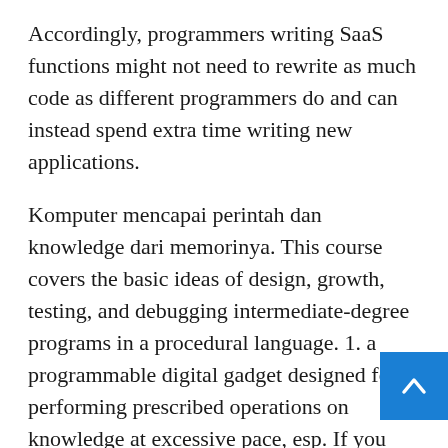Accordingly, programmers writing SaaS functions might not need to rewrite as much code as different programmers do and can instead spend extra time writing new applications.
Komputer mencapai perintah dan knowledge dari memorinya. This course covers the basic ideas of design, growth, testing, and debugging intermediate-degree programs in a procedural language. 1. a programmable digital gadget designed for performing prescribed operations on knowledge at excessive pace, esp. If you might need your audience and area of curiosity market outlined, then by means of the advertising you run, the web blog that you just write, and the podcasts and movies you create, you is perhaps clear in irrespective of content material materials you